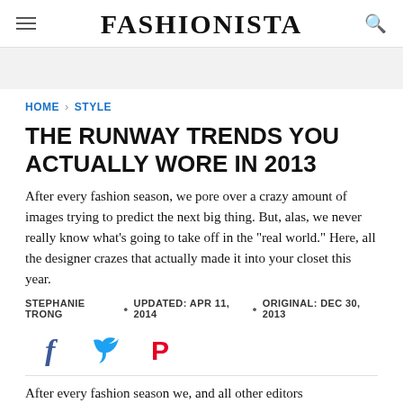FASHIONISTA
HOME › STYLE
THE RUNWAY TRENDS YOU ACTUALLY WORE IN 2013
After every fashion season, we pore over a crazy amount of images trying to predict the next big thing. But, alas, we never really know what's going to take off in the "real world." Here, all the designer crazes that actually made it into your closet this year.
STEPHANIE TRONG • UPDATED: APR 11, 2014 • ORIGINAL: DEC 30, 2013
[Figure (infographic): Social share buttons: Facebook (f), Twitter (bird), Pinterest (P)]
After every fashion season we, and all other editors